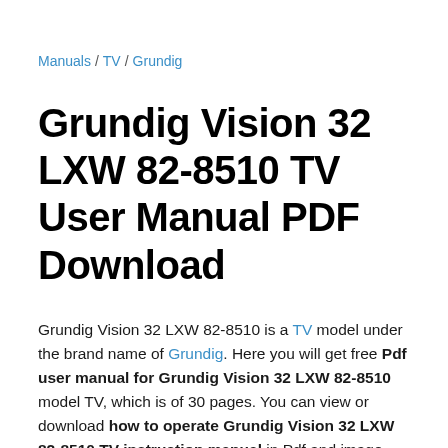Manuals / TV / Grundig
Grundig Vision 32 LXW 82-8510 TV User Manual PDF Download
Grundig Vision 32 LXW 82-8510 is a TV model under the brand name of Grundig. Here you will get free Pdf user manual for Grundig Vision 32 LXW 82-8510 model TV, which is of 30 pages. You can view or download how to operate Grundig Vision 32 LXW 82-8510 TV instruction manual in Pdf and image format.